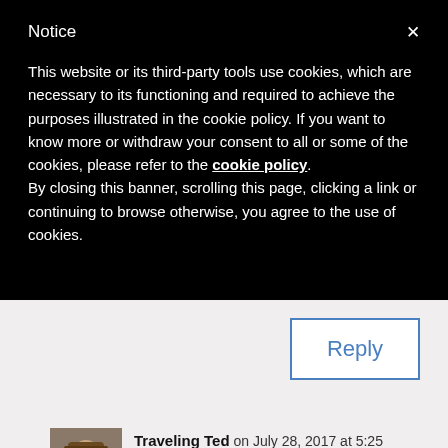Notice
This website or its third-party tools use cookies, which are necessary to its functioning and required to achieve the purposes illustrated in the cookie policy. If you want to know more or withdraw your consent to all or some of the cookies, please refer to the cookie policy.
By closing this banner, scrolling this page, clicking a link or continuing to browse otherwise, you agree to the use of cookies.
Reply
Traveling Ted on July 28, 2017 at 5:25 pm
Hello Hunter,
I would probably just put a few strips